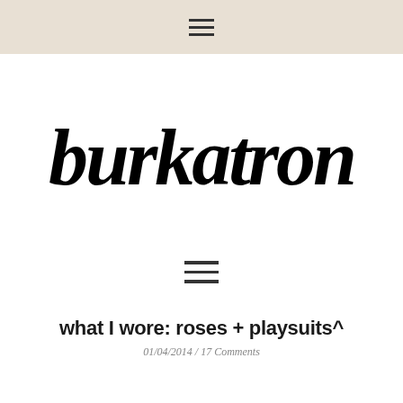≡
[Figure (logo): Handwritten script logo text reading 'burkatron' in bold black brush lettering]
[Figure (other): Hamburger menu icon (three horizontal lines) centered on page]
what I wore: roses + playsuits^
01/04/2014 / 17 Comments